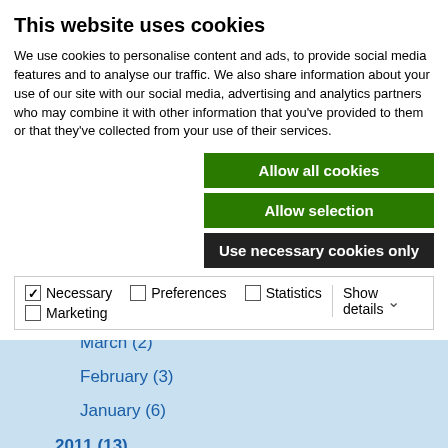This website uses cookies
We use cookies to personalise content and ads, to provide social media features and to analyse our traffic. We also share information about your use of our site with our social media, advertising and analytics partners who may combine it with other information that you've provided to them or that they've collected from your use of their services.
Allow all cookies
Allow selection
Use necessary cookies only
Necessary  Preferences  Statistics  Marketing  Show details
2012 (11)
March (2)
February (3)
January (6)
2011 (13)
2010 (9)
2009 (14)